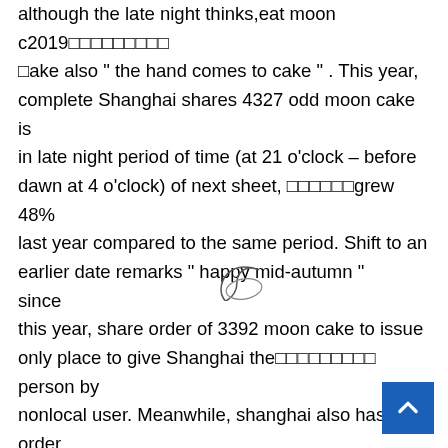although the late night thinks,eat moon c2019□□□□□□□□□ □ake also " the hand comes to cake " . This year, complete Shanghai shares 4327 odd moon cake is in late night period of time (at 21 o'clock – before dawn at 4 o'clock) of next sheet, □□□□□□grew 48% last year compared to the same period. Shift to an earlier date remarks " happy mid-autumn "   since this year, share order of 3392 moon cake to issue only place to give Shanghai the□□□□□□□□□ person by nonlocal user. Meanwhile, shanghai also has order of 5997 moon cake is choose an other place by the sheet below Shanghai user. The as the Mid-autumn Festival drawing near before this, had had remarks of more than 100 order " happy mid-autumn," " reunion adding up to the home " model of w□ characters. Remarks sold to also be become outside